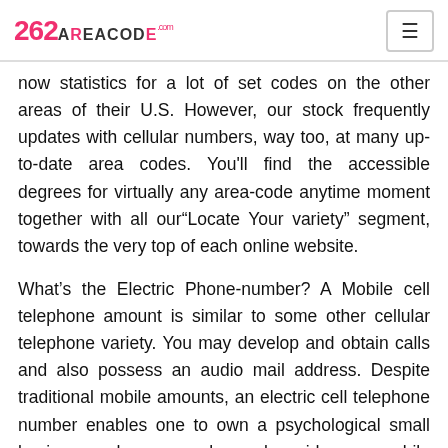262 AREACODE.com
now statistics for a lot of set codes on the other areas of their U.S. However, our stock frequently updates with cellular numbers, way too, at many up-to-date area codes. You'll find the accessible degrees for virtually any area-code anytime moment together with all our"Locate Your variety" segment, towards the very top of each online website.
What's the Electric Phone-number? A Mobile cell telephone amount is similar to some other cellular telephone variety. You may develop and obtain calls and also possess an audio mail address. Despite traditional mobile amounts, an electric cell telephone number enables one to own a psychological small business phone number alongside a mobile phonenumber on the same telephone